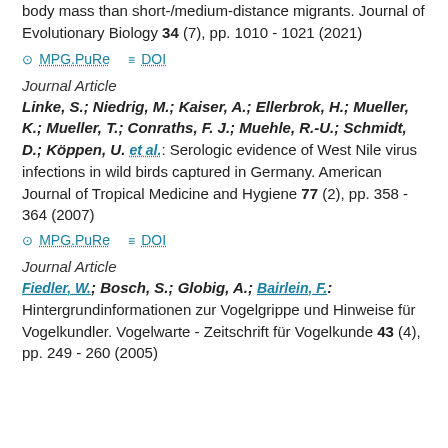body mass than short-/medium-distance migrants. Journal of Evolutionary Biology 34 (7), pp. 1010 - 1021 (2021)
MPG.PuRe   DOI
Journal Article
Linke, S.; Niedrig, M.; Kaiser, A.; Ellerbrok, H.; Mueller, K.; Mueller, T.; Conraths, F. J.; Muehle, R.-U.; Schmidt, D.; Köppen, U. et al.: Serologic evidence of West Nile virus infections in wild birds captured in Germany. American Journal of Tropical Medicine and Hygiene 77 (2), pp. 358 - 364 (2007)
MPG.PuRe   DOI
Journal Article
Fiedler, W.; Bosch, S.; Globig, A.; Bairlein, F.: Hintergrundinformationen zur Vogelgrippe und Hinweise für Vogelkundler. Vogelwarte - Zeitschrift für Vogelkunde 43 (4), pp. 249 - 260 (2005)